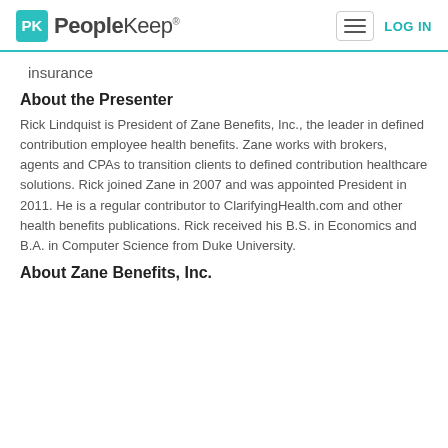PeopleKeep — LOG IN
insurance
About the Presenter
Rick Lindquist is President of Zane Benefits, Inc., the leader in defined contribution employee health benefits. Zane works with brokers, agents and CPAs to transition clients to defined contribution healthcare solutions. Rick joined Zane in 2007 and was appointed President in 2011. He is a regular contributor to ClarifyingHealth.com and other health benefits publications. Rick received his B.S. in Economics and B.A. in Computer Science from Duke University.
About Zane Benefits, Inc.